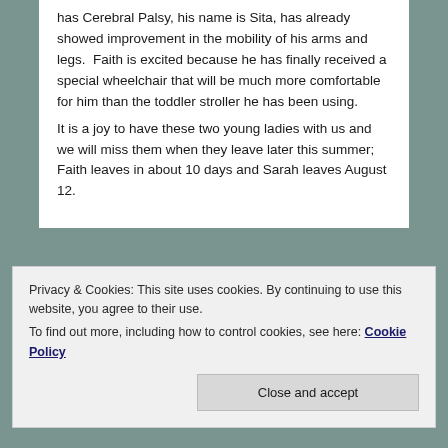has Cerebral Palsy, his name is Sita, has already showed improvement in the mobility of his arms and legs.  Faith is excited because he has finally received a special wheelchair that will be much more comfortable for him than the toddler stroller he has been using.
It is a joy to have these two young ladies with us and we will miss them when they leave later this summer; Faith leaves in about 10 days and Sarah leaves August 12.
Privacy & Cookies: This site uses cookies. By continuing to use this website, you agree to their use.
To find out more, including how to control cookies, see here: Cookie Policy
Close and accept